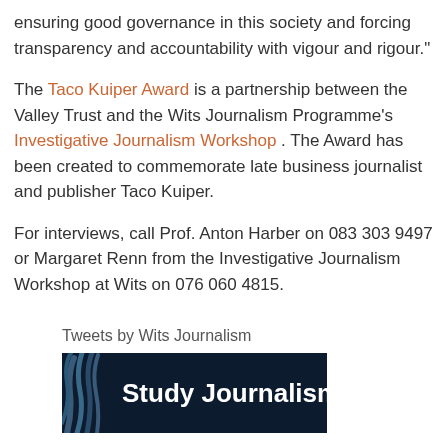ensuring good governance in this society and forcing transparency and accountability with vigour and rigour."
The Taco Kuiper Award is a partnership between the Valley Trust and the Wits Journalism Programme's Investigative Journalism Workshop . The Award has been created to commemorate late business journalist and publisher Taco Kuiper.
For interviews, call Prof. Anton Harber on 083 303 9497 or Margaret Renn from the Investigative Journalism Workshop at Wits on 076 060 4815.
Tweets by Wits Journalism
[Figure (photo): Study Journalism banner image with dark navy background and white bold text reading 'Study Journalism']